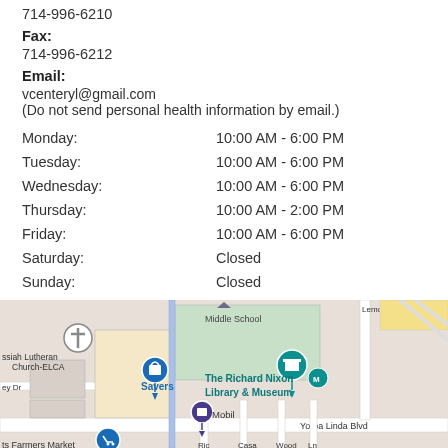714-996-6210
Fax:
714-996-6212
Email:
vcenteryl@gmail.com
(Do not send personal health information by email.)
| Day | Hours |
| --- | --- |
| Monday: | 10:00 AM - 6:00 PM |
| Tuesday: | 10:00 AM - 6:00 PM |
| Wednesday: | 10:00 AM - 6:00 PM |
| Thursday: | 10:00 AM - 2:00 PM |
| Friday: | 10:00 AM - 6:00 PM |
| Saturday: | Closed |
| Sunday: | Closed |
[Figure (map): Google Maps view showing area near The Richard Nixon Library & Museum, Yorba Linda Blvd, with markers for Savers, Mobil, Messiah Lutheran Church-ELCA, and a Farmers Market.]